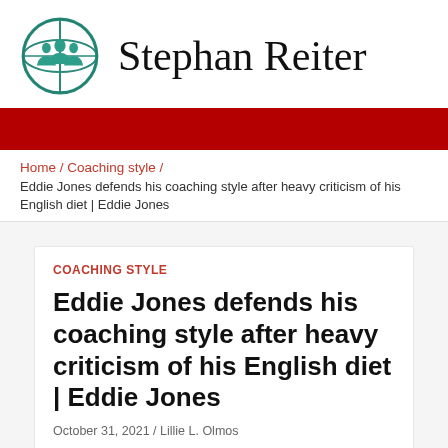Stephan Reiter
Home / Coaching style / Eddie Jones defends his coaching style after heavy criticism of his English diet | Eddie Jones
COACHING STYLE
Eddie Jones defends his coaching style after heavy criticism of his English diet | Eddie Jones
October 31, 2021 / Lillie L. Olmos